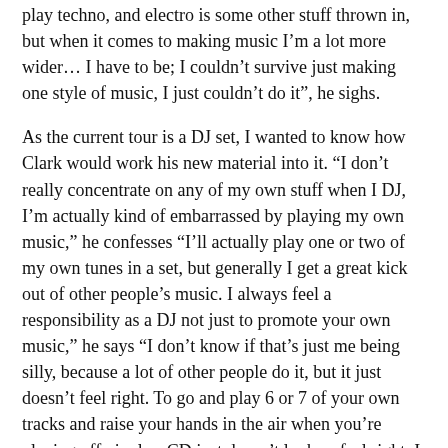play techno, and electro is some other stuff thrown in, but when it comes to making music I'm a lot more wider... I have to be; I couldn't survive just making one style of music, I just couldn't do it", he sighs.
As the current tour is a DJ set, I wanted to know how Clark would work his new material into it. “I don’t really concentrate on any of my own stuff when I DJ, I’m actually kind of embarrassed by playing my own music,” he confesses “I’ll actually play one or two of my own tunes in a set, but generally I get a great kick out of other people’s music. I always feel a responsibility as a DJ not just to promote your own music,” he says “I don’t know if that’s just me being silly, because a lot of other people do it, but it just doesn’t feel right. To go and play 6 or 7 of your own tracks and raise your hands in the air when you’re playing off vinyl or CD just doesn’t look or feel right, I dunno, it just leaves a bad taste.” I mention how PWEI’s Clint Mansell once said in an interview that listening to his own music felt a bit like masturbation. “Maybe I just like to